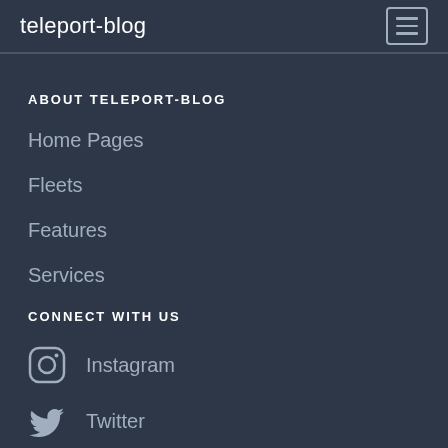teleport-blog
ABOUT TELEPORT-BLOG
Home Pages
Fleets
Features
Services
CONNECT WITH US
Instagram
Twitter